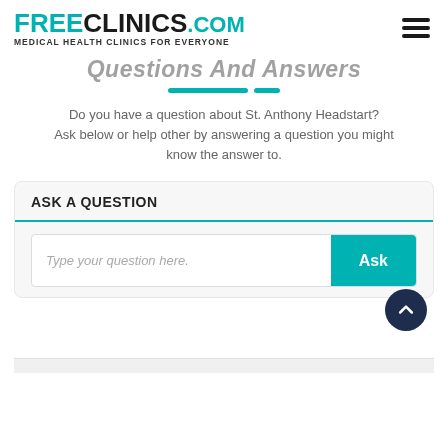FREECLINICS.COM Medical Health Clinics For Everyone
Questions And Answers
Do you have a question about St. Anthony Headstart? Ask below or help other by answering a question you might know the answer to.
ASK A QUESTION
Type your question here.